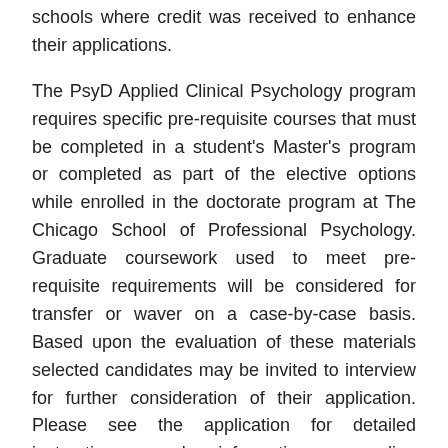schools where credit was received to enhance their applications.
The PsyD Applied Clinical Psychology program requires specific pre-requisite courses that must be completed in a student's Master's program or completed as part of the elective options while enrolled in the doctorate program at The Chicago School of Professional Psychology. Graduate coursework used to meet pre-requisite requirements will be considered for transfer or waver on a case-by-case basis. Based upon the evaluation of these materials selected candidates may be invited to interview for further consideration of their application. Please see the application for detailed instructions and information regarding application requirements, application deadlines, and letters of recommendation. Applications must be submitted with a $50 (US) fee in order to be evaluated.
Applicant Notification
The Chicago School of Professional Psychology reviews